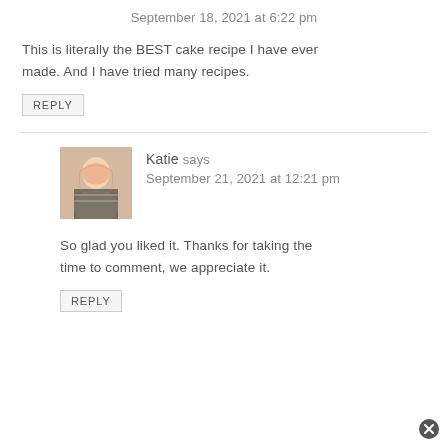September 18, 2021 at 6:22 pm
This is literally the BEST cake recipe I have ever made. And I have tried many recipes.
REPLY
[Figure (photo): Avatar photo of Katie, a young woman with long pink/blonde hair wearing a striped shirt]
Katie says
September 21, 2021 at 12:21 pm
So glad you liked it. Thanks for taking the time to comment, we appreciate it.
REPLY